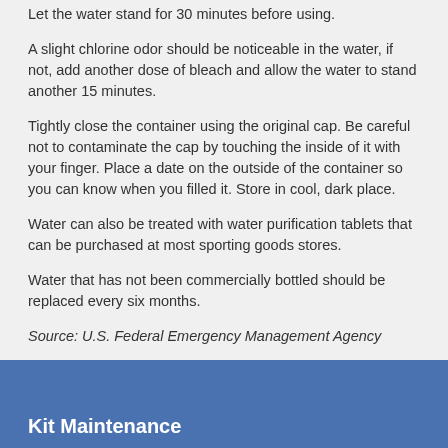Let the water stand for 30 minutes before using.
A slight chlorine odor should be noticeable in the water, if not, add another dose of bleach and allow the water to stand another 15 minutes.
Tightly close the container using the original cap. Be careful not to contaminate the cap by touching the inside of it with your finger. Place a date on the outside of the container so you can know when you filled it. Store in cool, dark place.
Water can also be treated with water purification tablets that can be purchased at most sporting goods stores.
Water that has not been commercially bottled should be replaced every six months.
Source: U.S. Federal Emergency Management Agency
Kit Maintenance